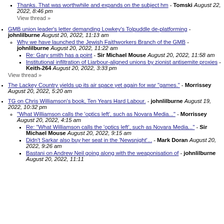Thanks. That was worthwhile and expands on the subject hm - Tomski August 22, 2022, 8:46 pm
View thread »
GMB union leader's letter demanding Lowkey's Tolpuddle de-platforming - johnlilburne August 20, 2022, 11:13 am
Why we have launched the Jewish Faithworkers Branch of the GMB - johnlilburne August 20, 2022, 11:22 am
Re: Gary smith has a point - Sir Michael Mouse August 20, 2022, 11:58 am
Institutional infiltration of Liarbour-aligned unions by zionist antisemite proxies - Keith-264 August 20, 2022, 3:33 pm
View thread »
The Lackey Country yields up its air space yet again for war "games." - Morrissey August 20, 2022, 5:20 am
TG on Chris Williamson's book, Ten Years Hard Labour. - johnlilburne August 19, 2022, 10:32 pm
"What Williamson calls the 'optics left', such as Novara Media..." - Morrissey August 20, 2022, 4:15 am
Re: "What Williamson calls the 'optics left', such as Novara Media..." - Sir Michael Mouse August 20, 2022, 9:15 am
Didn't Sarkar also buy her seat in the 'Newsnight'... - Mark Doran August 20, 2022, 9:26 am
Bastani on Andrew Neil going along with the weaponisation of - johnlilburne August 20, 2022, 11:11